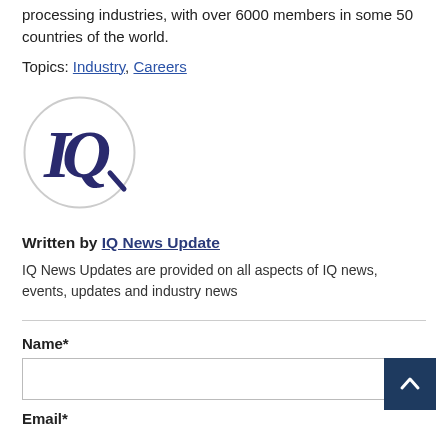processing industries, with over 6000 members in some 50 countries of the world.
Topics: Industry, Careers
[Figure (logo): IQ circular logo with stylized 'IQ' letters in dark navy blue on white background with grey circle border]
Written by IQ News Update
IQ News Updates are provided on all aspects of IQ news, events, updates and industry news
Name*
Email*